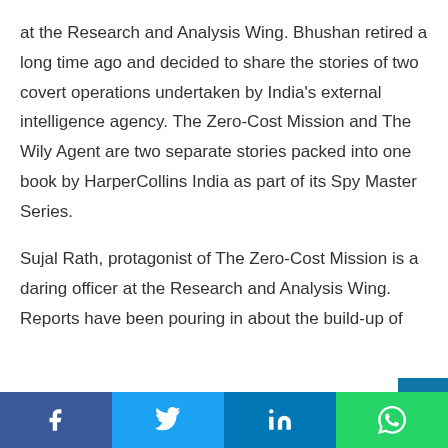at the Research and Analysis Wing. Bhushan retired a long time ago and decided to share the stories of two covert operations undertaken by India's external intelligence agency. The Zero-Cost Mission and The Wily Agent are two separate stories packed into one book by HarperCollins India as part of its Spy Master Series.
Sujal Rath, protagonist of The Zero-Cost Mission is a daring officer at the Research and Analysis Wing. Reports have been pouring in about the build-up of
[Figure (other): Social sharing bar with Facebook, Twitter, LinkedIn, and WhatsApp buttons]